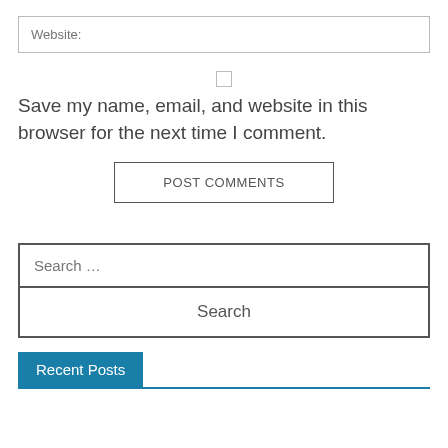Website:
Save my name, email, and website in this browser for the next time I comment.
POST COMMENTS
Search …
Search
Recent Posts